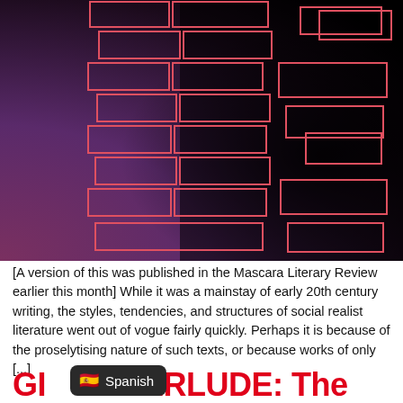[Figure (illustration): Abstract dark background fading from purple/pink on the left to black on the right, overlaid with a pattern of salmon/red outlined rectangles arranged in a brick-like staggered pattern on the left and center, and a few isolated rectangles on the right side.]
[A version of this was published in the Mascara Literary Review earlier this month] While it was a mainstay of early 20th century writing, the styles, tendencies, and structures of social realist literature went out of vogue fairly quickly. Perhaps it is because of the proselytising nature of such texts, or because works of only [...]
Spanish
GI TERLUDE: The